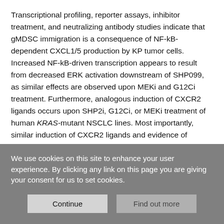Transcriptional profiling, reporter assays, inhibitor treatment, and neutralizing antibody studies indicate that gMDSC immigration is a consequence of NF-kB-dependent CXCL1/5 production by KP tumor cells. Increased NF-kB-driven transcription appears to result from decreased ERK activation downstream of SHP099, as similar effects are observed upon MEKi and G12Ci treatment. Furthermore, analogous induction of CXCR2 ligands occurs upon SHP2i, G12Ci, or MEKi treatment of human KRAS-mutant NSCLC lines. Most importantly, similar induction of CXCR2 ligands and evidence of increased gMDSC infiltration is seen in biopsy samples from patients treated with two different G12Cis. We found that SHP2i or MEKi treatment of EGFR-mutant NSCLC
We use cookies on this site to enhance your user experience. By clicking any link on this page you are giving your consent for us to set cookies.